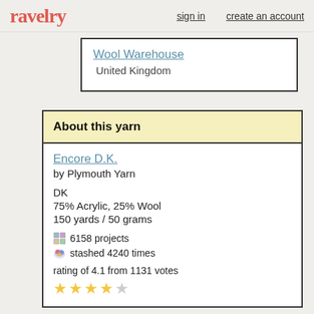ravelry   sign in   create an account
Wool Warehouse
United Kingdom
About this yarn
Encore D.K.
by Plymouth Yarn

DK
75% Acrylic, 25% Wool
150 yards / 50 grams

6158 projects
stashed 4240 times

rating of 4.1 from 1131 votes